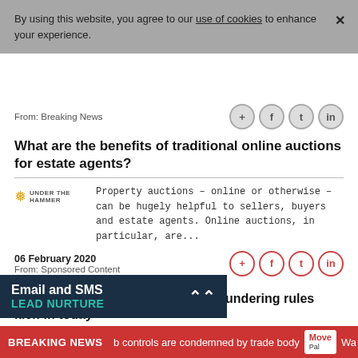By using this website, you agree to our use of cookies to enhance your experience.
From: Breaking News
What are the benefits of traditional online auctions for estate agents?
[Figure (logo): Under The Hammer logo with snowflake icon and text]
Property auctions – online or otherwise – can be hugely helpful to sellers, buyers and estate agents. Online auctions, in particular, are...
06 February 2020
From: Sponsored Content
Agents Beware: new anti-money laundering rules kick-in today
EU Money Laundering Directive comes
[Figure (infographic): Email and SMS Lead Nurture promotional banner]
BREAKING NEWS  b controls are condemned by trade body  Wa